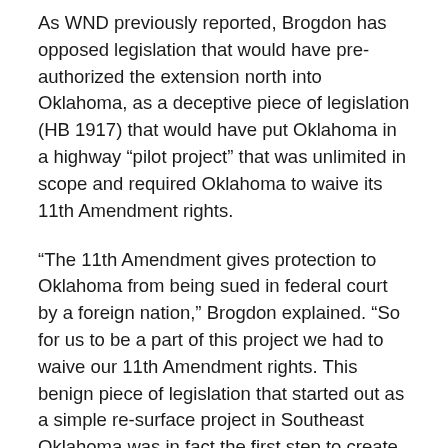As WND previously reported, Brogdon has opposed legislation that would have pre-authorized the extension north into Oklahoma, as a deceptive piece of legislation (HB 1917) that would have put Oklahoma in a highway “pilot project” that was unlimited in scope and required Oklahoma to waive its 11th Amendment rights.
“The 11th Amendment gives protection to Oklahoma from being sued in federal court by a foreign nation,” Brogdon explained. “So for us to be a part of this project we had to waive our 11th Amendment rights. This benign piece of legislation that started out as a simple re-surface project in Southeast Oklahoma was in fact the first step to create the NAFTA Superhighway through Oklahoma.”
The bill was strongly supported by the North America’s SuperCorridor Coalition, Inc., a Dallas-based trade